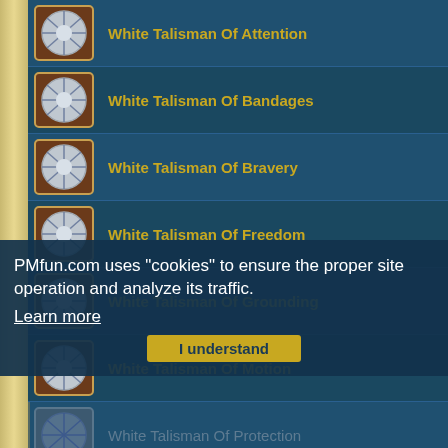White Talisman Of Attention
White Talisman Of Bandages
White Talisman Of Bravery
White Talisman Of Freedom
White Talisman Of Grounding
White Talisman Of Motion
White Talisman Of Protection
Yellow Talisman - CD Recovery Rate
Yellow Talisman - Damage Transition
Yellow Talisman - Distance Power
PMfun.com uses "cookies" to ensure the proper site operation and analyze its traffic. Learn more
I understand